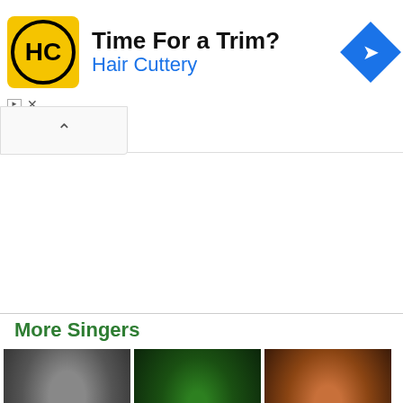[Figure (other): Hair Cuttery advertisement banner with yellow logo, text 'Time For a Trim? Hair Cuttery' and blue diamond arrow icon]
More Singers
[Figure (photo): Black and white photo of Sarah Vaughan with label 'Sarah Vaug...']
[Figure (photo): Photo of Belly performing on stage under green lights with label 'Belly']
[Figure (photo): Color photo of Martha Reeves with red-auburn hair with label 'Martha Ree...']
[Figure (photo): Black and white photo of blonde woman]
[Figure (photo): Black and white photo of man wearing reflective sunglasses]
[Figure (photo): Color photo of young man at an entertainment event with red carpet backdrop]